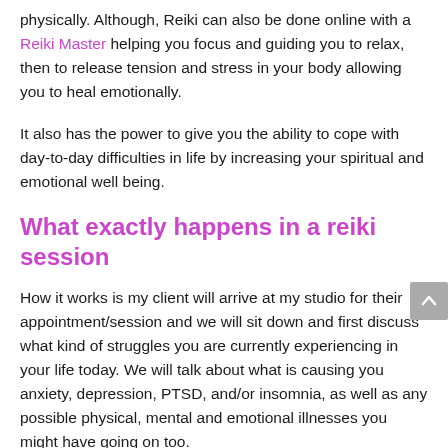physically. Although, Reiki can also be done online with a Reiki Master helping you focus and guiding you to relax, then to release tension and stress in your body allowing you to heal emotionally.
It also has the power to give you the ability to cope with day-to-day difficulties in life by increasing your spiritual and emotional well being.
What exactly happens in a reiki session
How it works is my client will arrive at my studio for their appointment/session and we will sit down and first discuss what kind of struggles you are currently experiencing in your life today. We will talk about what is causing you anxiety, depression, PTSD, and/or insomnia, as well as any possible physical, mental and emotional illnesses you might have going on too.